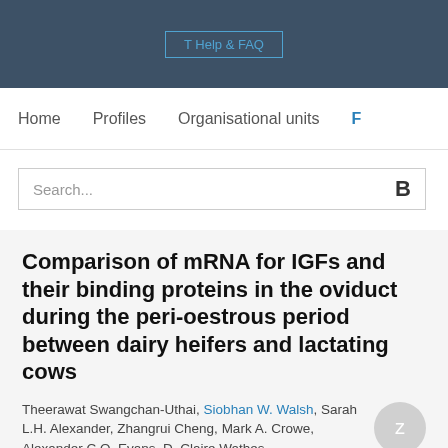T Help & FAQ
Home   Profiles   Organisational units   F
Search...
Comparison of mRNA for IGFs and their binding proteins in the oviduct during the peri-oestrous period between dairy heifers and lactating cows
Theerawat Swangchan-Uthai, Siobhan W. Walsh, Sarah L.H. Alexander, Zhangrui Cheng, Mark A. Crowe, Alexander C.O. Evans, D. Claire Wathes